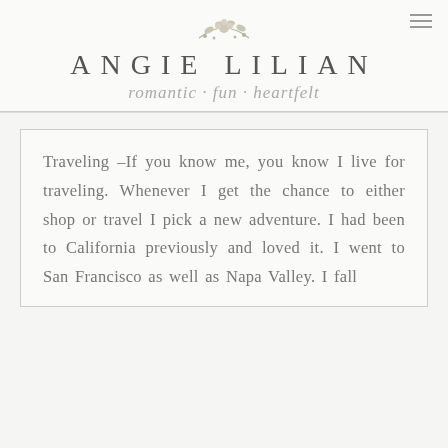[Figure (logo): Angie Lilian brand logo with floral illustration above brand name and script tagline 'romantic · fun · heartfelt']
Traveling –If you know me, you know I live for traveling. Whenever I get the chance to either shop or travel I pick a new adventure. I had been to California previously and loved it. I went to San Francisco as well as Napa Valley. I fall